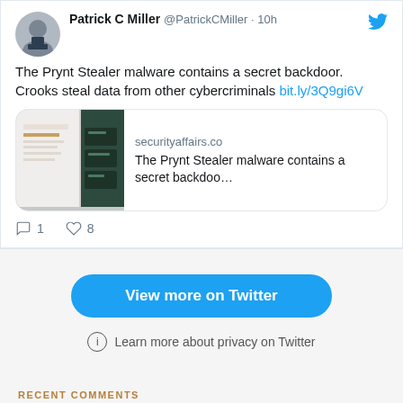[Figure (screenshot): Twitter/social media embed showing a tweet by Patrick C Miller (@PatrickCMiller) posted 10h ago. Tweet text: 'The Prynt Stealer malware contains a secret backdoor. Crooks steal data from other cybercriminals bit.ly/3Q9gi6V'. Includes a link preview card for securityaffairs.co with title 'The Prynt Stealer malware contains a secret backdoo…'. Tweet shows 1 comment and 8 likes. Below tweet is a 'View more on Twitter' blue button and 'Learn more about privacy on Twitter' text.]
RECENT COMMENTS
SolarWinds Active Ex… on Uh oh, Orion.